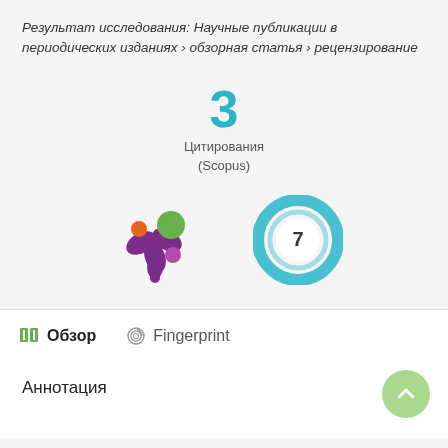Результат исследования: Научные публикации в периодических изданиях › обзорная статья › рецензирование
[Figure (infographic): Citation count badge showing '3' in teal color with label 'Цитирования (Scopus)' below]
[Figure (infographic): Altmetric donut badge (colorful splat logo) and a circular badge showing '7' in blue]
Обзор   Fingerprint
Аннотация